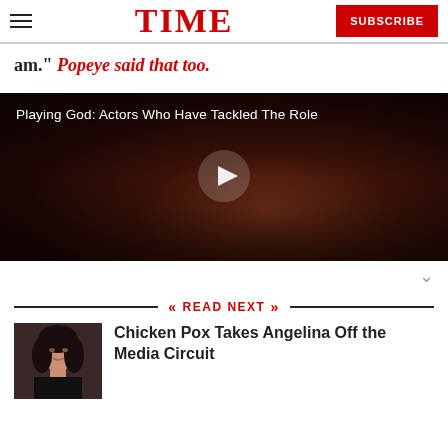TIME — SUBSCRIBE
am." Popeye said that too.
[Figure (screenshot): Video thumbnail showing an actor in a dark scene, titled 'Playing God: Actors Who Have Tackled The Role', with a play button overlay]
READ NEXT
Chicken Pox Takes Angelina Off the Media Circuit